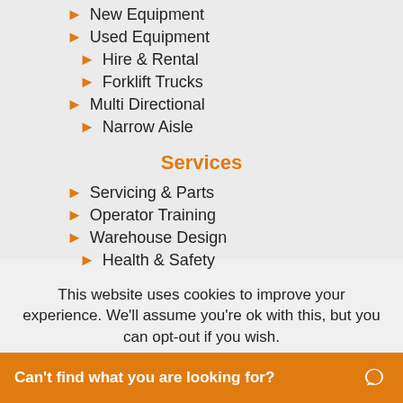New Equipment
Used Equipment
Hire & Rental
Forklift Trucks
Multi Directional
Narrow Aisle
Services
Servicing & Parts
Operator Training
Warehouse Design
Health & Safety
Finance Options
Transport & Onl...
This website uses cookies to improve your experience. We'll assume you're ok with this, but you can opt-out if you wish.
Can't find what you are looking for?